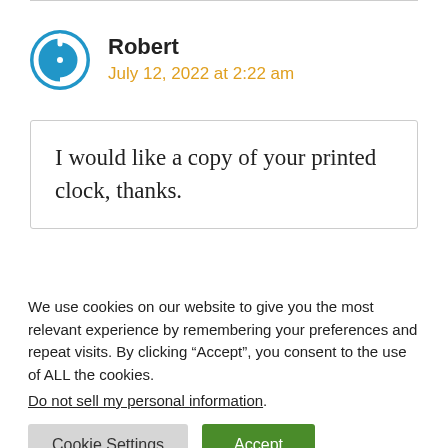Robert
July 12, 2022 at 2:22 am
I would like a copy of your printed clock, thanks.
We use cookies on our website to give you the most relevant experience by remembering your preferences and repeat visits. By clicking “Accept”, you consent to the use of ALL the cookies.
Do not sell my personal information.